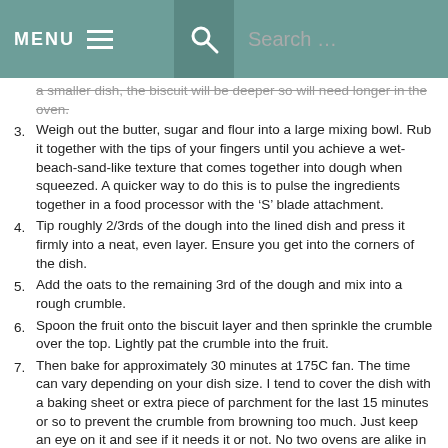MENU  Search ...
a smaller dish, the biscuit will be deeper so will need longer in the oven.
Weigh out the butter, sugar and flour into a large mixing bowl. Rub it together with the tips of your fingers until you achieve a wet-beach-sand-like texture that comes together into dough when squeezed. A quicker way to do this is to pulse the ingredients together in a food processor with the 'S' blade attachment.
Tip roughly 2/3rds of the dough into the lined dish and press it firmly into a neat, even layer. Ensure you get into the corners of the dish.
Add the oats to the remaining 3rd of the dough and mix into a rough crumble.
Spoon the fruit onto the biscuit layer and then sprinkle the crumble over the top. Lightly pat the crumble into the fruit.
Then bake for approximately 30 minutes at 175C fan. The time can vary depending on your dish size. I tend to cover the dish with a baking sheet or extra piece of parchment for the last 15 minutes or so to prevent the crumble from browning too much. Just keep an eye on it and see if it needs it or not. No two ovens are alike in my experience!
Remove from the oven and allow the biscuit to cool in the dish. Then carefully transfer it to a chopping board and cut it as you like.